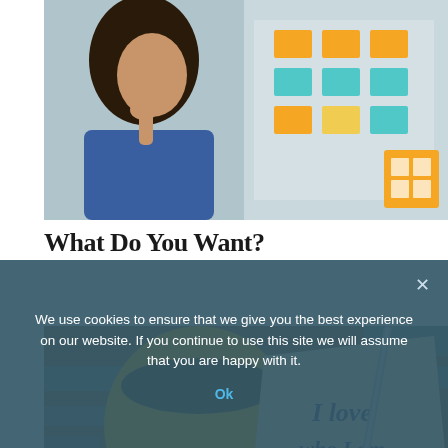[Figure (photo): Woman thinking with hand on chin, looking at a board with colorful sticky notes in orange, yellow, and teal. A yellow device with grid pattern visible on the right.]
What Do You Want?
[Figure (photo): Yellow coffee mug with dark coffee next to a paper napkin with the handwritten text 'I love who I am and what I do' in blue ink. A pen rests nearby on a rustic wooden table.]
We use cookies to ensure that we give you the best experience on our website. If you continue to use this site we will assume that you are happy with it.
Ok